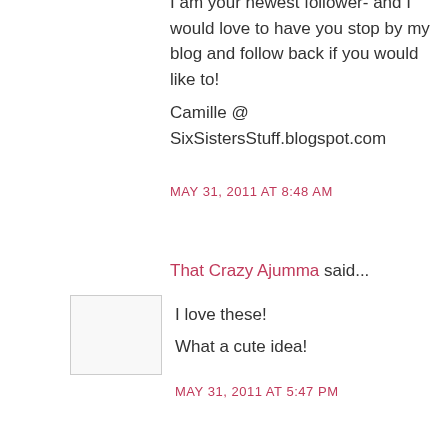I am your newest follower- and I would love to have you stop by my blog and follow back if you would like to!
Camille @ SixSistersStuff.blogspot.com
MAY 31, 2011 AT 8:48 AM
That Crazy Ajumma said...
I love these!
What a cute idea!
MAY 31, 2011 AT 5:47 PM